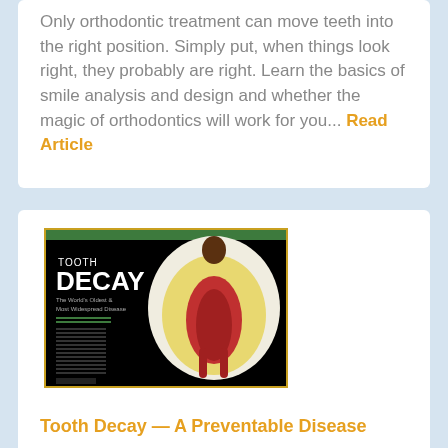Only orthodontic treatment can move teeth into the right position. Simply put, when things look right, they probably are right. Learn the basics of smile analysis and design and whether the magic of orthodontics will work for you... Read Article
[Figure (photo): Magazine cover or article image titled 'TOOTH DECAY' with a cross-section illustration of a tooth showing decay, red dental pulp and brown decay at top, on a black background with a green header bar.]
Tooth Decay — A Preventable Disease
Tooth decay is the number one reason children and adults lose teeth during their lifetime. Yet many people don't realize that it is a preventable...